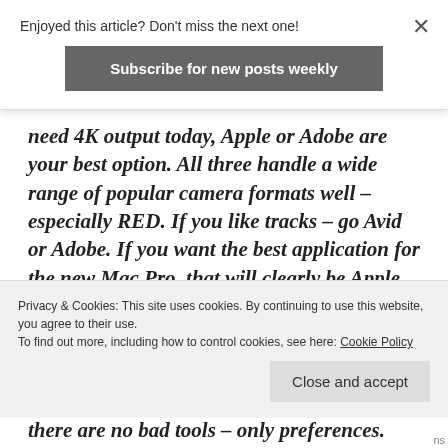Enjoyed this article? Don't miss the next one!
Subscribe for new posts weekly
need 4K output today, Apple or Adobe are your best option. All three handle a wide range of popular camera formats well – especially RED. If you like tracks – go Avid or Adobe. If you want the best application for the new Mac Pro, that will clearly be Apple Final cut Pro X. These are all great
Privacy & Cookies: This site uses cookies. By continuing to use this website, you agree to their use.
To find out more, including how to control cookies, see here: Cookie Policy
Close and accept
there are no bad tools – only preferences.
ns